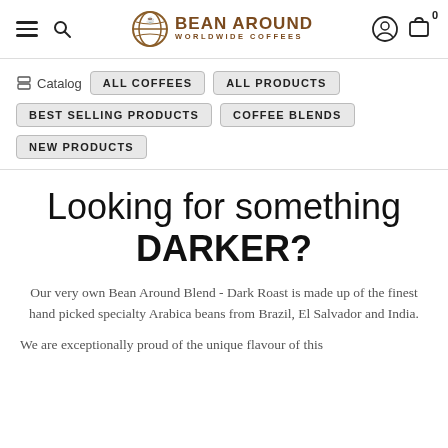Bean Around Worldwide Coffees - navigation header with hamburger menu, search, logo, user account, and cart icons
Catalog | ALL COFFEES | ALL PRODUCTS
BEST SELLING PRODUCTS | COFFEE BLENDS
NEW PRODUCTS
Looking for something DARKER?
Our very own Bean Around Blend - Dark Roast is made up of the finest hand picked specialty Arabica beans from Brazil, El Salvador and India.
We are exceptionally proud of the unique flavour of this